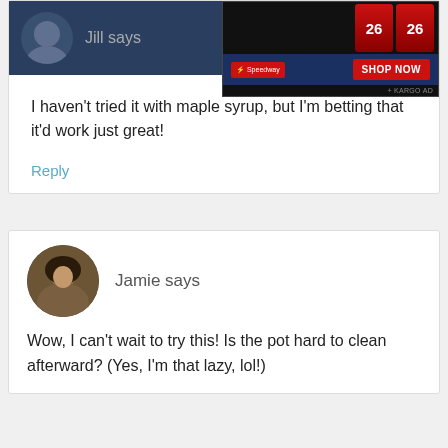Jill says
[Figure (screenshot): Advertisement banner for Speedway energy drink product with SHOP NOW button and KARGO AD label]
I haven't tried it with maple syrup, but I'm betting that it'd work just great!
Reply
[Figure (photo): Circular avatar photo of Jamie, a person with dark hair]
Jamie says
Wow, I can't wait to try this! Is the pot hard to clean afterward? (Yes, I'm that lazy, lol!)